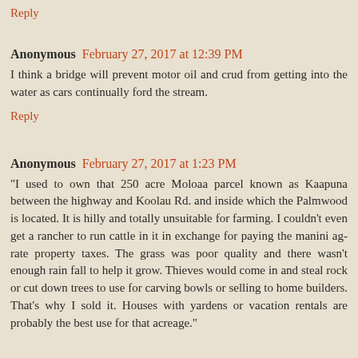Reply
Anonymous  February 27, 2017 at 12:39 PM
I think a bridge will prevent motor oil and crud from getting into the water as cars continually ford the stream.
Reply
Anonymous  February 27, 2017 at 1:23 PM
"I used to own that 250 acre Moloaa parcel known as Kaapuna between the highway and Koolau Rd. and inside which the Palmwood is located. It is hilly and totally unsuitable for farming. I couldn't even get a rancher to run cattle in it in exchange for paying the manini ag-rate property taxes. The grass was poor quality and there wasn't enough rain fall to help it grow. Thieves would come in and steal rock or cut down trees to use for carving bowls or selling to home builders. That's why I sold it. Houses with yardens or vacation rentals are probably the best use for that acreage."